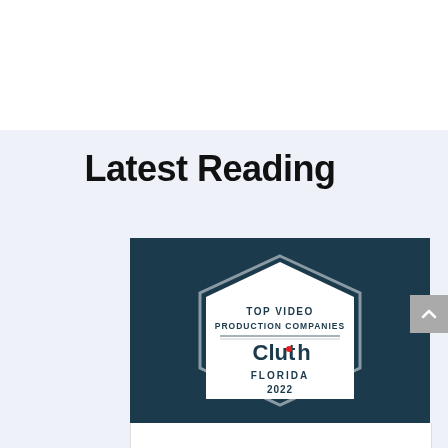Latest Reading
[Figure (logo): Clutch badge: Top Video Production Companies, Florida 2022, on dark teal background with hexagonal badge design]